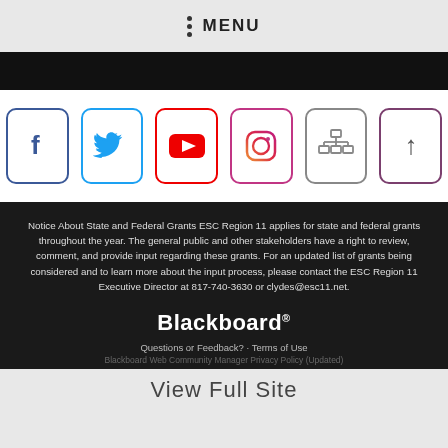MENU
[Figure (other): Social media icon buttons: Facebook, Twitter, YouTube, Instagram, Sitemap, Scroll to top]
Notice About State and Federal Grants ESC Region 11 applies for state and federal grants throughout the year. The general public and other stakeholders have a right to review, comment, and provide input regarding these grants. For an updated list of grants being considered and to learn more about the input process, please contact the ESC Region 11 Executive Director at 817-740-3630 or clydes@esc11.net.
[Figure (logo): Blackboard logo]
Questions or Feedback? · Terms of Use
Blackboard Web Community Manager Privacy Policy (Updated)
View Full Site